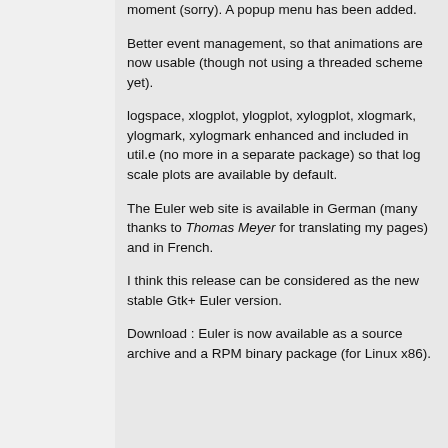moment (sorry). A popup menu has been added.
Better event management, so that animations are now usable (though not using a threaded scheme yet).
logspace, xlogplot, ylogplot, xylogplot, xlogmark, ylogmark, xylogmark enhanced and included in util.e (no more in a separate package) so that log scale plots are available by default.
The Euler web site is available in German (many thanks to Thomas Meyer for translating my pages) and in French.
I think this release can be considered as the new stable Gtk+ Euler version.
Download : Euler is now available as a source archive and a RPM binary package (for Linux x86).